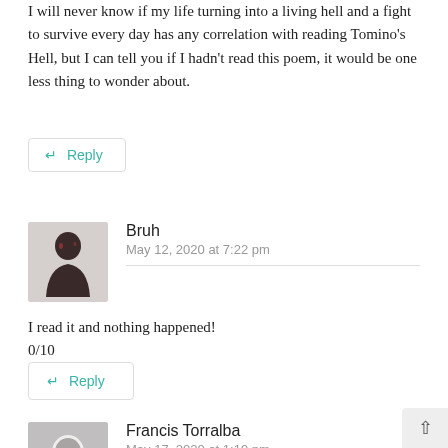I will never know if my life turning into a living hell and a fight to survive every day has any correlation with reading Tomino's Hell, but I can tell you if I hadn't read this poem, it would be one less thing to wonder about.
↵ Reply
Bruh
May 12, 2020 at 7:22 pm
I read it and nothing happened!
0/10
↵ Reply
Francis Torralba
May 17, 2020 at 1:19 pm
Tried reading it like 5 times both English and Japanese aaand